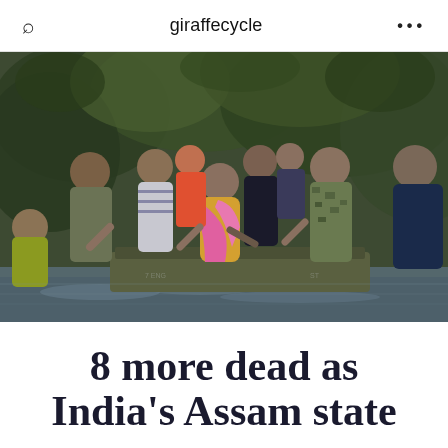giraffecycle
[Figure (photo): Military and rescue personnel helping flood-affected civilians board a boat during flooding in India's Assam state. Several people in the image including soldiers in camouflage and olive uniforms are assisting an elderly woman in a pink and yellow sari to board a green military boat. Green tropical vegetation is visible in the background with flooded water surrounding.]
8 more dead as India's Assam state